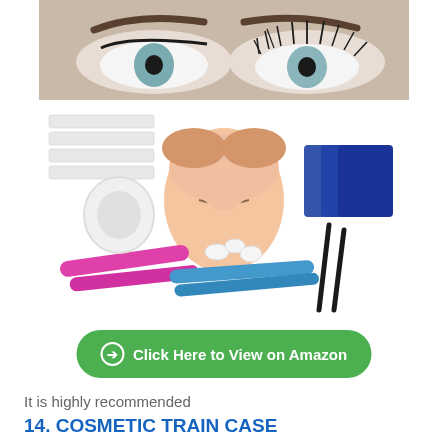[Figure (photo): Product photo showing eyelash extension kit with mannequin head, eyelash trays, tweezers, tape, applicators, pink and blue brushes, and other tools, with a close-up of a woman's eyes with long lashes at the top.]
Click Here to View on Amazon
It is highly recommended
14. COSMETIC TRAIN CASE
Cosmetologists need good cases to store their tools. This Shany cosmetic train case will sure be